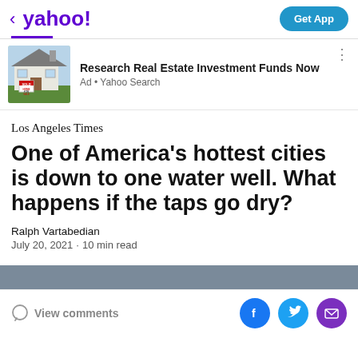< yahoo!   Get App
[Figure (screenshot): Ad banner with house for sale photo. Research Real Estate Investment Funds Now. Ad • Yahoo Search]
Los Angeles Times
One of America's hottest cities is down to one water well. What happens if the taps go dry?
Ralph Vartabedian
July 20, 2021 · 10 min read
View comments